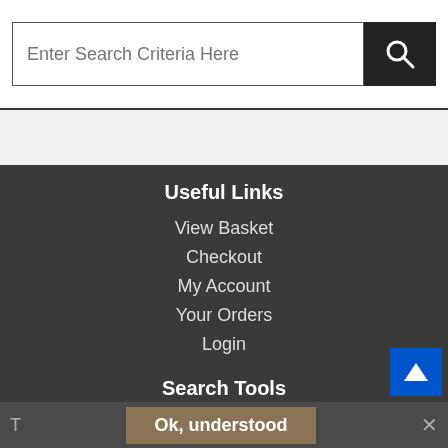[Figure (screenshot): Search input field with placeholder text 'Enter Search Criteria Here' and a dark search button with magnifying glass icon]
Useful Links
View Basket
Checkout
My Account
Your Orders
Login
Search Tools
Advanced Search
A to Z
Ok, understood